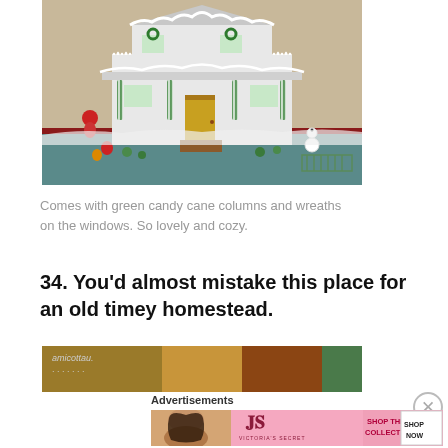[Figure (photo): A decorated gingerbread house with green candy cane columns, wreaths on windows, candy decorations in the yard, snowmen figurines, and white icing trim]
Comes with green candy cane columns and wreaths on the windows. So lovely and cozy.
34. You'd almost mistake this place for an old timey homestead.
[Figure (photo): Partial view of another gingerbread house photo, partially obscured]
Advertisements
[Figure (photo): Victoria's Secret advertisement banner showing a model, VS logo, text SHOP THE COLLECTION, and a SHOP NOW button]